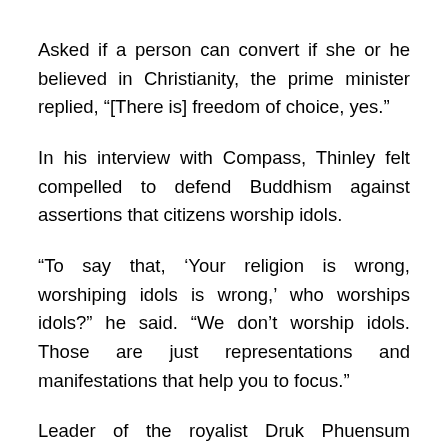Asked if a person can convert if she or he believed in Christianity, the prime minister replied, “[There is] freedom of choice, yes.”
In his interview with Compass, Thinley felt compelled to defend Buddhism against assertions that citizens worship idols.
“To say that, ‘Your religion is wrong, worshiping idols is wrong,’ who worships idols?” he said. “We don’t worship idols. Those are just representations and manifestations that help you to focus.”
Leader of the royalist Druk Phuensum Tshogpa party, Thinley is regarded as a sincere politician who is trusted by Bhutan’s small Christian minority. He became the prime minister in April 2008 following the first democratic election